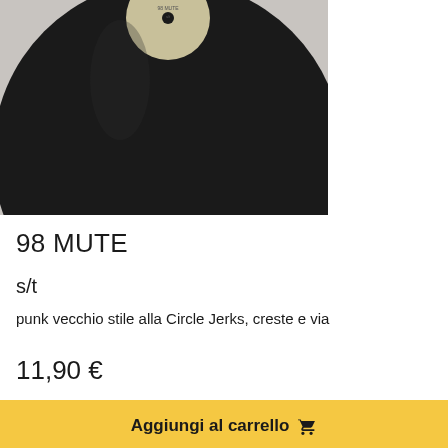[Figure (photo): Photo of a black vinyl record with a label visible at the top center, partially cropped, on a light background]
98 MUTE
s/t
punk vecchio stile alla Circle Jerks, creste e via
11,90 €
Aggiungi al carrello 🛒
Vinile